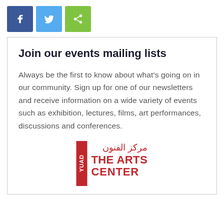[Figure (illustration): Three social media share buttons: Facebook (dark blue), Twitter (light blue), and a generic share icon (green), displayed as square icons with white symbols.]
Join our events mailing lists
Always be the first to know about what's going on in our community. Sign up for one of our newsletters and receive information on a wide variety of events such as exhibition, lectures, films, art performances, discussions and conferences.
[Figure (logo): The Arts Center at NYUAD logo. A red vertical rectangle with 'YUAD' text, beside Arabic text 'مركز الفنون' and English text 'THE ARTS CENTER'.]